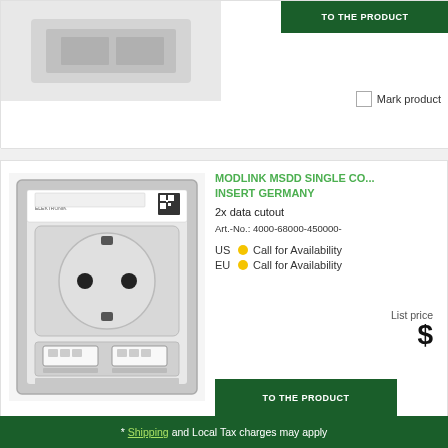[Figure (photo): Partial top card showing a product image (modlink insert, white panel, light grey) and a green TO THE PRODUCT button.]
TO THE PRODUCT
Mark product
[Figure (photo): MURR Elektronik MODLINK MSDD product photo: white industrial socket insert with Schuko outlet (round holes and grounding clips) on top, two RJ45 data cutout slots on bottom, QR code label, grey frame.]
MODLINK MSDD SINGLE CO... INSERT GERMANY
2x data cutout
Art.-No.: 4000-68000-450000-
US  Call for Availability
EU  Call for Availability
List price
$
TO THE PRODUCT
Mark product
* Shipping and Local Tax charges may apply